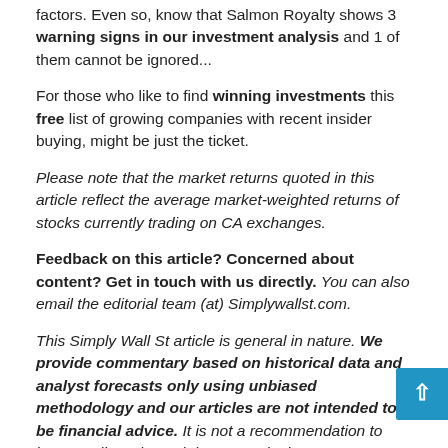factors. Even so, know that Salmon Royalty shows 3 warning signs in our investment analysis and 1 of them cannot be ignored...
For those who like to find winning investments this free list of growing companies with recent insider buying, might be just the ticket.
Please note that the market returns quoted in this article reflect the average market-weighted returns of stocks currently trading on CA exchanges.
Feedback on this article? Concerned about content? Get in touch with us directly. You can also email the editorial team (at) Simplywallst.com.
This Simply Wall St article is general in nature. We provide commentary based on historical data and analyst forecasts only using unbiased methodology and our articles are not intended to be financial advice. It is not a recommendation to buy or sell stocks and does not take into account your...